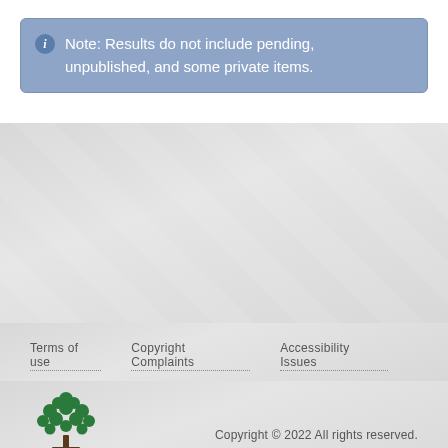Note: Results do not include pending, unpublished, and some private items.
Terms of use   Copyright Complaints   Accessibility Issues
[Figure (logo): STEMEd HUB logo with green tree icon above the text 'STEMEd HUB']
Copyright © 2022 All rights reserved.